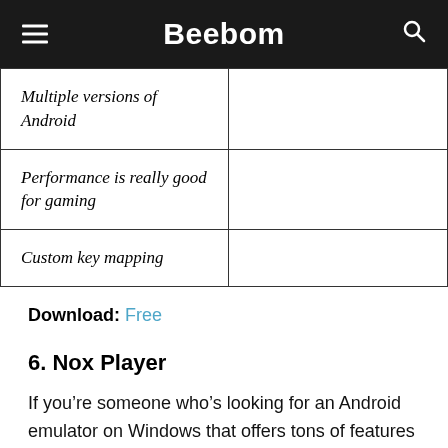Beebom
| Multiple versions of Android |  |
| Performance is really good for gaming |  |
| Custom key mapping |  |
Download: Free
6. Nox Player
If you’re someone who’s looking for an Android emulator on Windows that offers tons of features other than just gaming, well then, Nox Player is the perfect